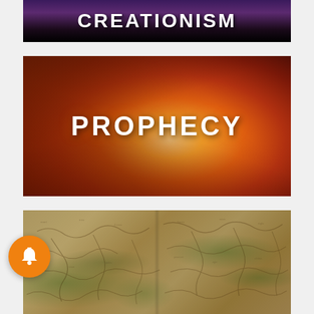[Figure (illustration): Book or video thumbnail with text CREATIONISM on a dark purple/black background with silhouette landscape]
[Figure (illustration): Video thumbnail with text PROPHECY on a dramatic orange-red cloudy sky background]
[Figure (illustration): Old antique map showing geographical features with text and green land masses on aged parchment]
[Figure (illustration): Orange circular notification bell button overlay in bottom-left area]